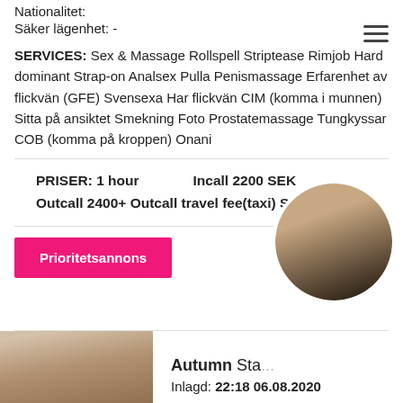Nationalitet:
Säker lägenhet: -
SERVICES: Sex & Massage Rollspell Striptease Rimjob Hard dominant Strap-on Analsex Pulla Penismassage Erfarenhet av flickvän (GFE) Svensexa Har flickvän CIM (komma i munnen) Sitta på ansiktet Smekning Foto Prostatemassage Tungkyssar COB (komma på kroppen) Onani
PRISER: 1 hour   Incall 2200 SEK
Outcall 2400+ Outcall travel fee(taxi) SEK
Prioritetsannons
[Figure (photo): Circular cropped photo thumbnail of a person]
[Figure (photo): Photo of Autumn]
Autumn Sta...
Inlagd: 22:18 06.08.2020